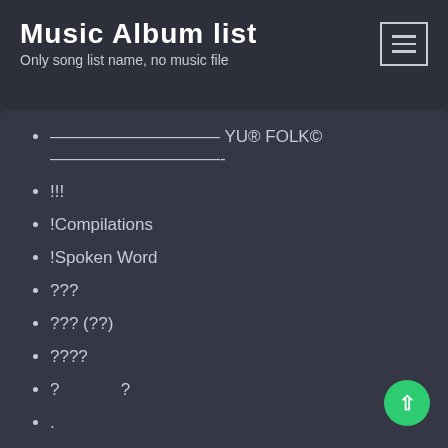Music Album list
Only song list name, no music file
—————— YU® FOLK© ——————-
!!!
!Compilations
!Spoken Word
???
??? (??)
????
?             ?
.
'60s Pop
'grindcore'
"Blues
(Country) Rock
[Folk]
& Country
°ê»y¬y¦æ
¬y¦æ¦+